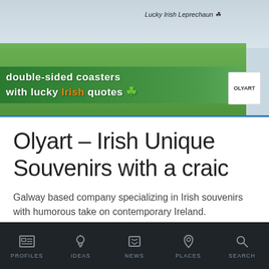[Figure (photo): Product photo showing Olyart double-sided coasters display box with green banner reading 'double-sided coasters with lucky Irish quotes' with shamrock icon and OLYART branding label. Lucky Irish Leprechaun tag visible.]
Olyart – Irish Unique Souvenirs with a craic
Galway based company specializing in Irish souvenirs with humorous take on contemporary Ireland.
PROFILES  IDEAS  NEWS  PLACES  SEARCH